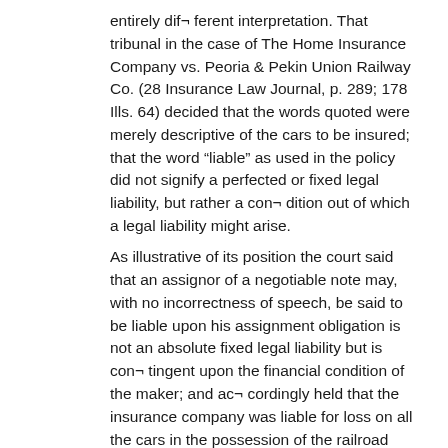entirely dif¬ ferent interpretation. That tribunal in the case of The Home Insurance Company vs. Peoria & Pekin Union Railway Co. (28 Insurance Law Journal, p. 289; 178 Ills. 64) decided that the words quoted were merely descriptive of the cars to be insured; that the word “liable” as used in the policy did not signify a perfected or fixed legal liability, but rather a con¬ dition out of which a legal liability might arise.
As illustrative of its position the court said that an assignor of a negotiable note may, with no incorrectness of speech, be said to be liable upon his assignment obligation is not an absolute fixed legal liability but is con¬ tingent upon the financial condition of the maker; and ac¬ cordingly held that the insurance company was liable for loss on all the cars in the possession of the railroad company, notwithstanding the fact that the latter was not legally liable to the owners.